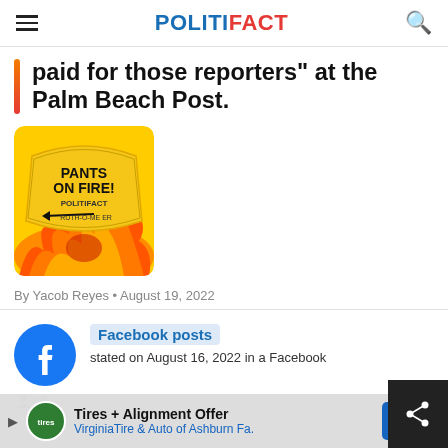POLITIFACT
paid for those reporters" at the Palm Beach Post.
[Figure (illustration): Pants on Fire verdict image — yellow/orange badge with flames reading 'PANTS ON FIRE! POLITIFACT TRUTH-O-METER']
By Yacob Reyes • August 19, 2022
Facebook posts  stated on August 16, 2022 in a Facebook
Tires + Alignment Offer  VirginiaTire & Auto of Ashburn Fa.